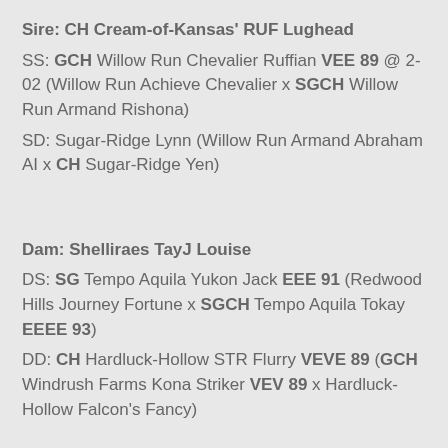Sire: CH Cream-of-Kansas' RUF Lughead
SS: GCH Willow Run Chevalier Ruffian VEE 89 @ 2-02 (Willow Run Achieve Chevalier x SGCH Willow Run Armand Rishona)
SD: Sugar-Ridge Lynn (Willow Run Armand Abraham AI x CH Sugar-Ridge Yen)
Dam: Shelliraes TayJ Louise
DS: SG Tempo Aquila Yukon Jack EEE 91 (Redwood Hills Journey Fortune x SGCH Tempo Aquila Tokay EEEE 93)
DD: CH Hardluck-Hollow STR Flurry VEVE 89 (GCH Windrush Farms Kona Striker VEV 89 x Hardluck-Hollow Falcon's Fancy)